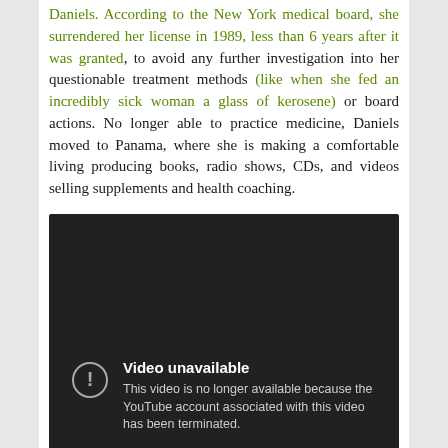Daniels. According to the New York medical board, she surrendered her license in 1989, less than 6 years after it was granted, to avoid any further investigation into her questionable treatment methods (like when she fed an incredibly sick woman a glass of kerosene) or board actions. No longer able to practice medicine, Daniels moved to Panama, where she is making a comfortable living producing books, radio shows, CDs, and videos selling supplements and health coaching.
[Figure (screenshot): Embedded YouTube video player showing an error: 'Video unavailable. This video is no longer available because the YouTube account associated with this video has been terminated.']